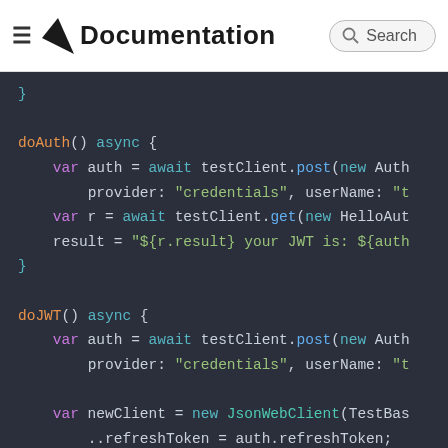Documentation Search
Code block showing doAuth() async { ... } and doJWT() async { ... } methods with testClient.post, testClient.get, newClient = new JsonWebClient, and refreshToken assignments